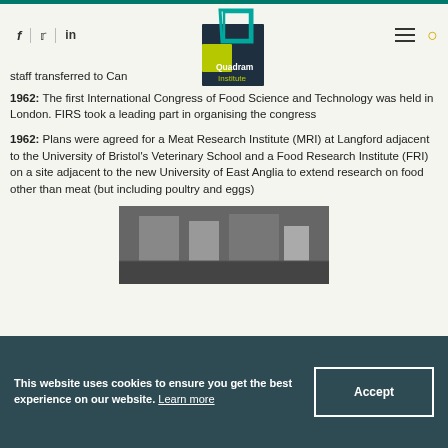Quadram Institute — navigation header with social icons (f, twitter, in), logo, hamburger menu, search icon
staff transferred to Can
1962: The first International Congress of Food Science and Technology was held in London. FIRS took a leading part in organising the congress
1962: Plans were agreed for a Meat Research Institute (MRI) at Langford adjacent to the University of Bristol's Veterinary School and a Food Research Institute (FRI) on a site adjacent to the new University of East Anglia to extend research on food other than meat (but including poultry and eggs)
[Figure (photo): Black and white photograph of industrial or laboratory equipment]
This website uses cookies to ensure you get the best experience on our website. Learn more
Accept